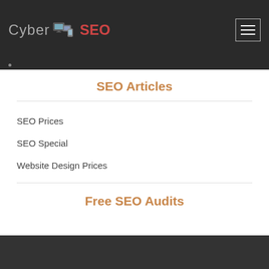Cyber SEO
SEO Articles
SEO Prices
SEO Special
Website Design Prices
Free SEO Audits